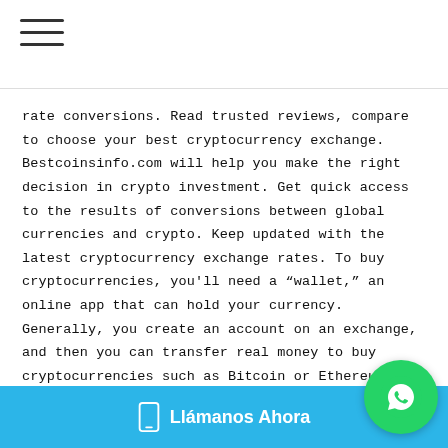☰ (hamburger menu icon)
rate conversions. Read trusted reviews, compare to choose your best cryptocurrency exchange. Bestcoinsinfo.com will help you make the right decision in crypto investment. Get quick access to the results of conversions between global currencies and crypto. Keep updated with the latest cryptocurrency exchange rates. To buy cryptocurrencies, you'll need a "wallet," an online app that can hold your currency. Generally, you create an account on an exchange, and then you can transfer real money to buy cryptocurrencies such as Bitcoin or Ethereum.
This is the best exchange so far not even in Play Store you can find similar exchange. Try out a BCH to BTC conversion and see how much extra value you may have lying around in your old Bitcoin wallets. Get the latest crypto news, updates, and reports by subscribing to our free newsletter. You will receive an email with instructions for how...
Llámanos Ahora